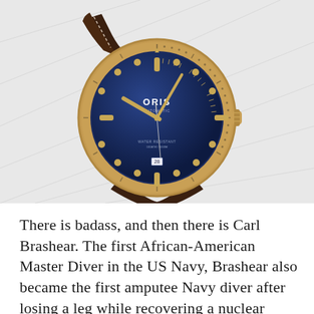[Figure (photo): An Oris Carl Brashear diver watch with a bronze case, blue dial showing the ORIS logo and 'AUTOMATIC' text, gold-colored hands and hour markers, rotating bronze bezel with minute markings, a dark brown leather strap with white stitching, and a crown on the right side.]
There is badass, and then there is Carl Brashear. The first African-American Master Diver in the US Navy, Brashear also became the first amputee Navy diver after losing a leg while recovering a nuclear